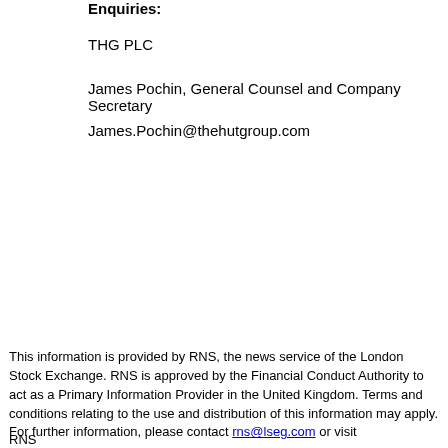Enquiries:
THG PLC
James Pochin, General Counsel and Company Secretary
James.Pochin@thehutgroup.com
This information is provided by RNS, the news service of the London Stock Exchange. RNS is approved by the Financial Conduct Authority to act as a Primary Information Provider in the United Kingdom. Terms and conditions relating to the use and distribution of this information may apply. For further information, please contact rns@lseg.com or visit www.rns.com.
RNS